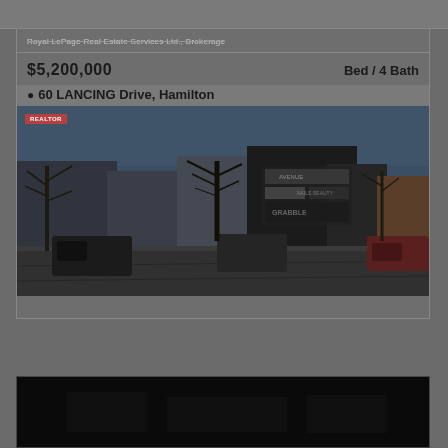Royal LePage Real Estate Services Ltd., Brokerage
$5,200,000
Bed / 4 Bath
60 LANCING Drive, Hamilton
[Figure (photo): Exterior photo of a commercial/retail strip mall building with parking lot in foreground, trees without leaves, dark blue sky. Visible signage on building facade. Several vehicles parked in lot.]
[Figure (photo): Dark/black panel at bottom of page, appears to be another property image that is very dark or unloaded.]